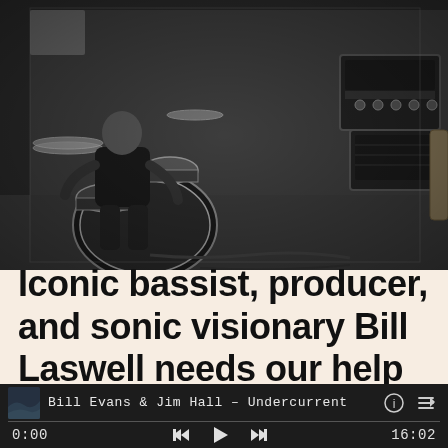[Figure (photo): Black and white photograph of two musicians performing. On the left, a drummer is seated playing a drum kit. On the right, a guitarist/bassist in a vest and cap is seated playing an electric bass guitar. Amplifier equipment is visible in the background on the right side.]
Iconic bassist, producer, and sonic visionary Bill Laswell needs our help
Bill Evans & Jim Hall – Undercurrent
0:00
16:02